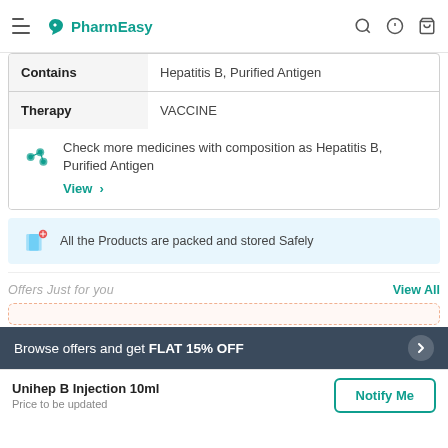PharmEasy
|  |  |
| --- | --- |
| Contains | Hepatitis B, Purified Antigen |
| Therapy | VACCINE |
Check more medicines with composition as Hepatitis B, Purified Antigen
View >
All the Products are packed and stored Safely
Offers Just for you   View All
Browse offers and get FLAT 15% OFF
Unihep B Injection 10ml
Price to be updated
Notify Me